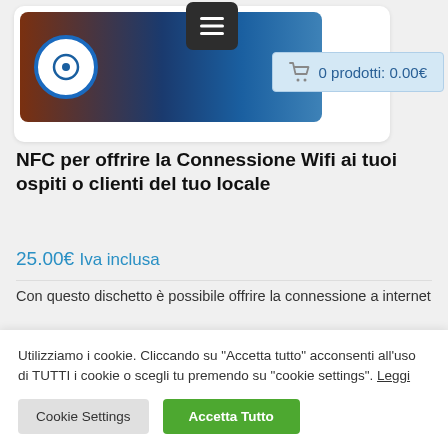[Figure (screenshot): Product image showing NFC disc with blue and brown background, and a menu icon button and shopping cart tooltip overlay]
NFC per offrire la Connessione Wifi ai tuoi ospiti o clienti del tuo locale
25.00€ Iva inclusa
Con questo dischetto è possibile offrire la connessione a internet
Utilizziamo i cookie. Cliccando su "Accetta tutto" acconsenti all'uso di TUTTI i cookie o scegli tu premendo su "cookie settings". Leggi
Cookie Settings
Accetta Tutto